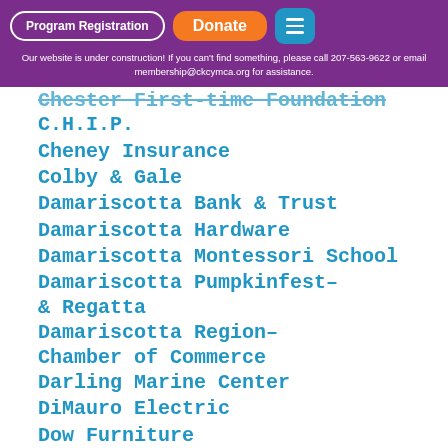Program Registration | Donate | [menu]
Our website is under construction! If you can't find something, please call 207-563-9622 or email membership@ckcymca.org for assistance.
[Chester First-time Foundation]
C.H.I.P.
Cheney Insurance
Colby & Gale
Damariscotta Bank & Trust
Damariscotta Hardware
Damariscotta Montessori School
Damariscotta Pumpkinfest- & Regatta
Damariscotta Region- Chamber of Commerce
Darling Marine Center
DiMauro Electric
Dow Furniture
Farrin Properties
First National Bank
Francis Perkins Center
Hancock Lumber
Healthy Kids
Home Counselors Inc.